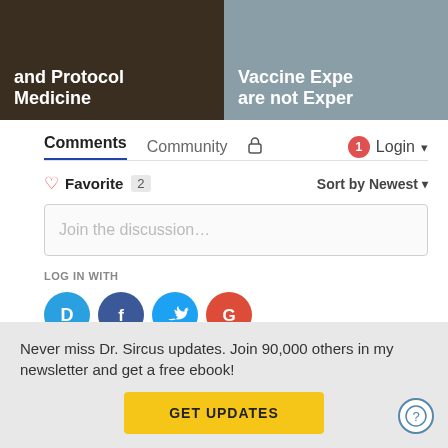[Figure (screenshot): Two article thumbnails side by side: left shows dark background with white bold text 'and Protocol Medicine', right shows gray background with white bold text 'Vaccine Expe... are not Exper...']
Comments  Community  🔒  1  Login ▾
♡ Favorite  2    Sort by Newest ▾
Join the discussion...
LOG IN WITH
[Figure (infographic): Four social login icons: Disqus (blue D), Facebook (blue F), Twitter (blue bird), Google (red G)]
OR SIGN UP WITH DISQUS  ?
Name
Never miss Dr. Sircus updates. Join 90,000 others in my newsletter and get a free ebook!
GET UPDATES